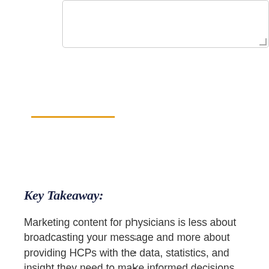[Figure (other): A textarea/input box with a resize handle in the bottom-right corner, bordered with light gray rounded rectangle border.]
Key Takeaway:
Marketing content for physicians is less about broadcasting your message and more about providing HCPs with the data, statistics, and insight they need to make informed decisions.